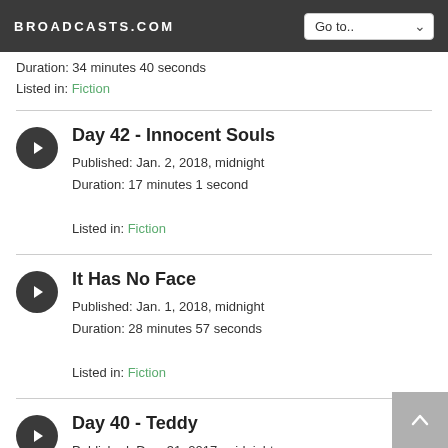BROADCASTS.COM
Duration: 34 minutes 40 seconds
Listed in: Fiction
Day 42 - Innocent Souls
Published: Jan. 2, 2018, midnight
Duration: 17 minutes 1 second
Listed in: Fiction
It Has No Face
Published: Jan. 1, 2018, midnight
Duration: 28 minutes 57 seconds
Listed in: Fiction
Day 40 - Teddy
Published: Dec. 31, 2017, midnight
Duration: 6 minutes 37 seconds